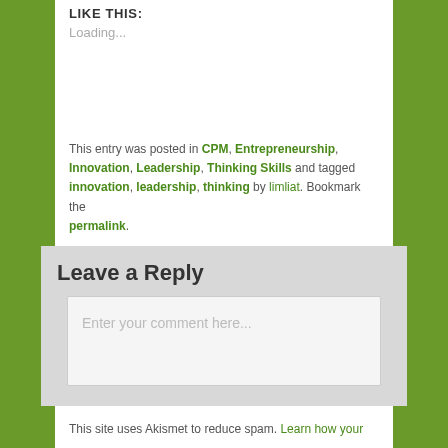LIKE THIS:
Loading...
This entry was posted in CPM, Entrepreneurship, Innovation, Leadership, Thinking Skills and tagged innovation, leadership, thinking by limliat. Bookmark the permalink.
Leave a Reply
Enter your comment here...
This site uses Akismet to reduce spam. Learn how your